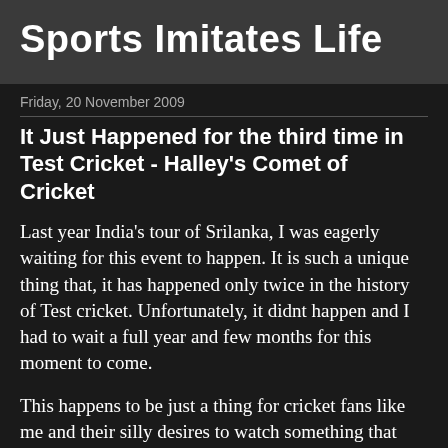Sports Imitates Life
Friday, 20 November 2009
It Just Happened for the third time in Test Cricket - Halley's Comet of Cricket
Last year India's tour of Srilanka, I was eagerly waiting for this event to happen. It is such a unique thing that, it has happened only twice in the history of Test cricket. Unfortunately, it didnt happen and I had to wait a full year and few months for this moment to come.
This happens to be just a thing for cricket fans like me and their silly desires to watch something that